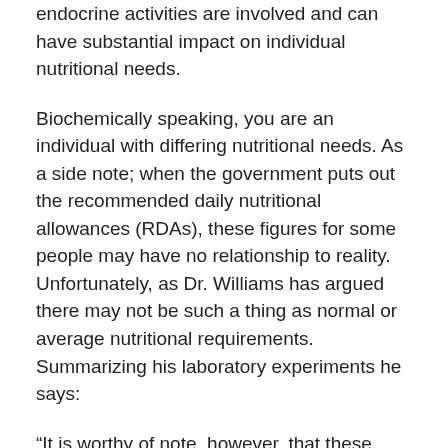endocrine activities are involved and can have substantial impact on individual nutritional needs.
Biochemically speaking, you are an individual with differing nutritional needs. As a side note; when the government puts out the recommended daily nutritional allowances (RDAs), these figures for some people may have no relationship to reality. Unfortunately, as Dr. Williams has argued there may not be such a thing as normal or average nutritional requirements. Summarizing his laboratory experiments he says:
“It is worthy of note, however, that these experiments give strong corroboration of the central idea of this chapter, namely, (1) each human individual has quantitatively a distinctive pattern of nutritional needs, (2) from individual to individual, specific needs may vary several